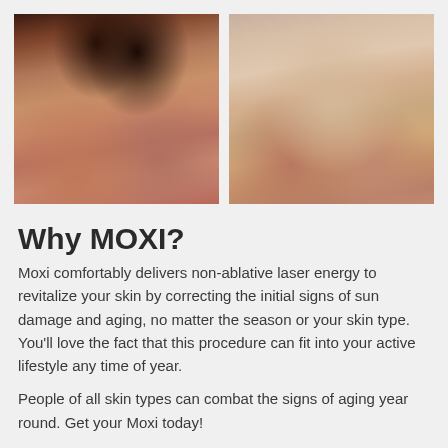[Figure (photo): Before and after side-by-side comparison photos of a woman's face showing skin treatment results from MOXI laser procedure. Left photo shows skin before treatment with visible sun damage and aging signs. Right photo shows skin after treatment with improved texture.]
Why MOXI?
Moxi comfortably delivers non-ablative laser energy to revitalize your skin by correcting the initial signs of sun damage and aging, no matter the season or your skin type. You'll love the fact that this procedure can fit into your active lifestyle any time of year.
People of all skin types can combat the signs of aging year round. Get your Moxi today!